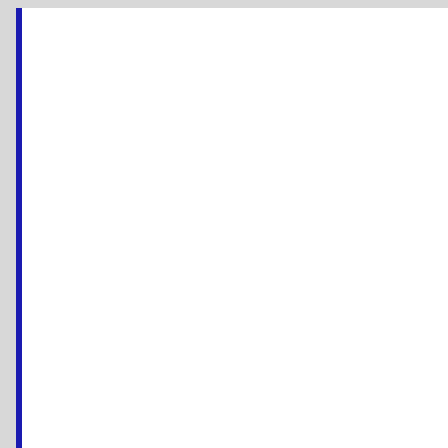[Figure (screenshot): White content card with dark blue left border, largely empty white area representing web page content above the fold]
Tagged with: 2019 New York Giants OTA Practice, D
June 11, 2019 New York Giants OTA Report
Posted by Eric Kennedy
Share  Tweet  Like 23  Share  Pin it